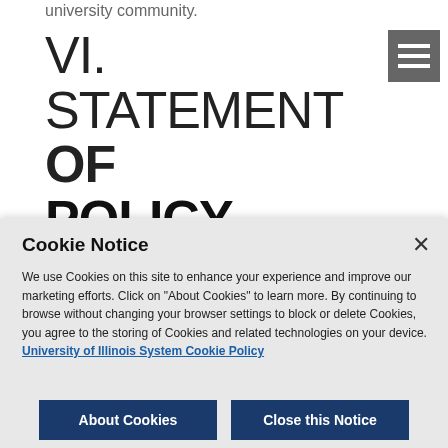university community.
VI. STATEMENT OF POLICY
All UIS students who live, learn, work or train on the UIS campus or in off-campus UIS facilities must be fully vaccinated against COVID-19. New students must be fully
[Figure (other): Cookie Notice modal overlay with close button, body text about cookie policy, a link to University of Illinois System Cookie Policy, and two buttons: About Cookies and Close this Notice]